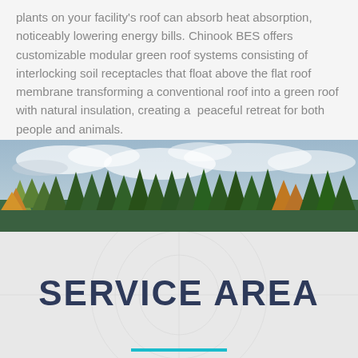plants on your facility's roof can absorb heat absorption, noticeably lowering energy bills. Chinook BES offers customizable modular green roof systems consisting of interlocking soil receptacles that float above the flat roof membrane transforming a conventional roof into a green roof with natural insulation, creating a peaceful retreat for both people and animals.
[Figure (photo): A wide landscape photograph showing a dense forest of evergreen and autumn-colored deciduous trees against a cloudy sky]
SERVICE AREA